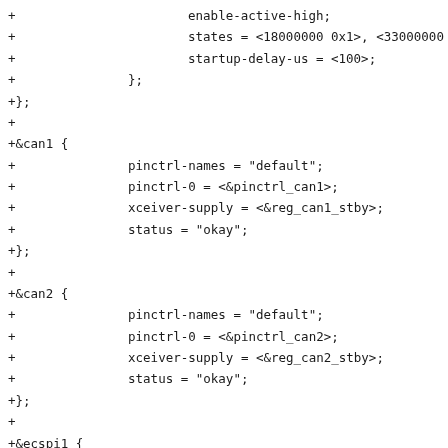+			enable-active-high;
+			states = <18000000 0x1>, <33000000 0x0>;
+			startup-delay-us = <100>;
+		};
+};
+
+&can1 {
+		pinctrl-names = "default";
+		pinctrl-0 = <&pinctrl_can1>;
+		xceiver-supply = <&reg_can1_stby>;
+		status = "okay";
+};
+
+&can2 {
+		pinctrl-names = "default";
+		pinctrl-0 = <&pinctrl_can2>;
+		xceiver-supply = <&reg_can2_stby>;
+		status = "okay";
+};
+
+&ecspi1 {
+		pinctrl-names = "default";
+		pinctrl-0 = <&pinctrl_ecspi1>;
+		cs-gpios = <&gpio3 24 GPIO_ACTIVE_LOW>;
+		status = "okay";
+
+		flash@0 {
+			compatible = "jedec,spi-nor";
+			spi-max-frequency = <54000000>;
+			req = <0>;